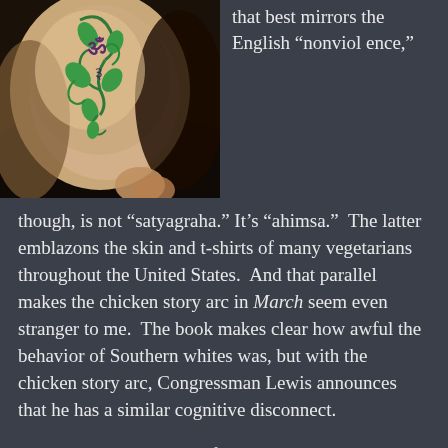[Figure (photo): Close-up photo of a wrist/forearm with a green and dark decorative tattoo featuring Sanskrit or Hindi script with floral/vine design elements]
that best mirrors the English “nonviolence,” though, is not “satyagraha.” It’s “ahimsa.”  The latter emblazons the skin and t-shirts of many vegetarians throughout the United States.  And that parallel makes the chicken story arc in March seem even stranger to me.  The book makes clear how awful the behavior of Southern whites was, but with the chicken story arc, Congressman Lewis announces that he has a similar cognitive disconnect.
I can see why that level of honesty is